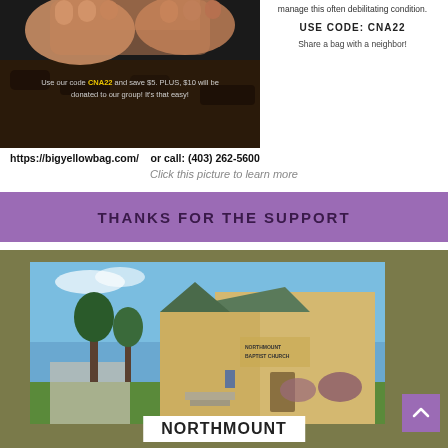[Figure (photo): Hands holding dark soil/compost with overlay text: 'Use our code CNA22 and save $5. PLUS, $10 will be donated to our group! It's that easy!']
manage this often debilitating condition.

USE CODE: CNA22

Share a bag with a neighbor!
https://bigyellowbag.com/    or call: (403) 262-5600
Click this picture to learn more
THANKS FOR THE SUPPORT
[Figure (photo): Exterior photo of Northmount Baptist Church building with brick facade, green roof, trees, and lawn. Text overlay at bottom reads NORTHMOUNT.]